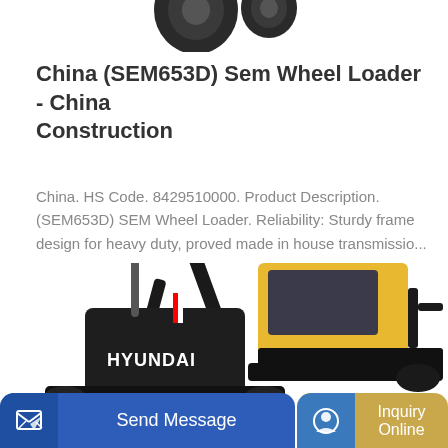[Figure (photo): Partial view of construction equipment (wheel loader tires) at the top of the page]
China (SEM653D) Sem Wheel Loader - China Construction
China. HS Code. 8429510000. Product Description. (SEM653D) SEM Wheel Loader. Reliability: Sturdy frame design for heavy duty, proved made in house transmissio...
Learn More
[Figure (photo): Hyundai mini excavator on the left side, partially shown, with arm extended upward]
[Figure (photo): Yellow construction excavator cab on the right side, partially visible]
Send Message
Inquiry Online